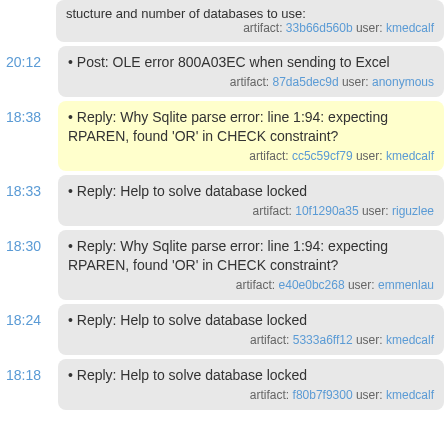stucture and number of databases to use:
artifact: 33b66d560b user: kmedcalf
20:12 • Post: OLE error 800A03EC when sending to Excel artifact: 87da5dec9d user: anonymous
18:38 • Reply: Why Sqlite parse error: line 1:94: expecting RPAREN, found 'OR' in CHECK constraint? artifact: cc5c59cf79 user: kmedcalf
18:33 • Reply: Help to solve database locked artifact: 10f1290a35 user: riguzlee
18:30 • Reply: Why Sqlite parse error: line 1:94: expecting RPAREN, found 'OR' in CHECK constraint? artifact: e40e0bc268 user: emmenlau
18:24 • Reply: Help to solve database locked artifact: 5333a6ff12 user: kmedcalf
18:18 • Reply: Help to solve database locked artifact: f80b7f9300 user: kmedcalf